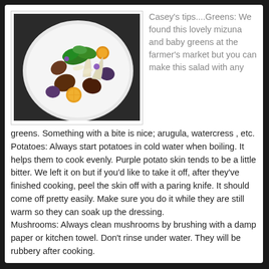[Figure (photo): A white plate with a gourmet salad featuring mizuna, baby greens, roasted purple potatoes, caramelized lemon slices, mushrooms, and white endive leaves arranged artistically on a white background.]
Casey's tips....Greens: We found this lovely mizuna and baby greens at the farmer's market but you can make this salad with any greens. Something with a bite is nice; arugula, watercress , etc.
Potatoes: Always start potatoes in cold water when boiling. It helps them to cook evenly. Purple potato skin tends to be a little bitter. We left it on but if you'd like to take it off, after they've finished cooking, peel the skin off with a paring knife. It should come off pretty easily. Make sure you do it while they are still warm so they can soak up the dressing.
Mushrooms: Always clean mushrooms by brushing with a damp paper or kitchen towel. Don't rinse under water. They will be rubbery after cooking.